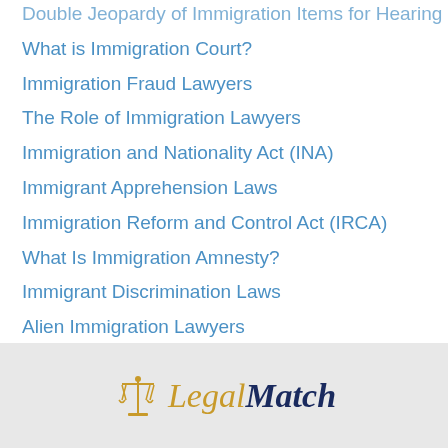Double Jeopardy of Immigration Items for Hearing
What is Immigration Court?
Immigration Fraud Lawyers
The Role of Immigration Lawyers
Immigration and Nationality Act (INA)
Immigrant Apprehension Laws
Immigration Reform and Control Act (IRCA)
What Is Immigration Amnesty?
Immigrant Discrimination Laws
Alien Immigration Lawyers
What Is Legal Immigration?
Immigration Law
[Figure (logo): LegalMatch logo with scales of justice icon in gold/orange, text 'Legal' in italic gold and 'Match' in italic dark navy blue]